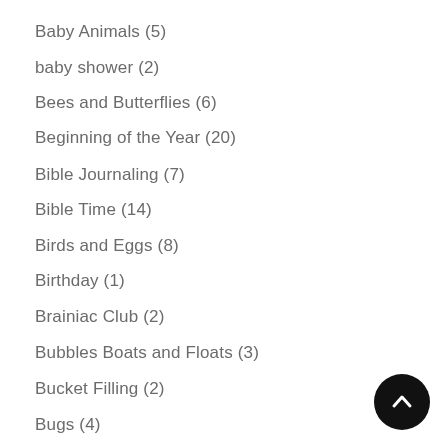Baby Animals (5)
baby shower (2)
Bees and Butterflies (6)
Beginning of the Year (20)
Bible Journaling (7)
Bible Time (14)
Birds and Eggs (8)
Birthday (1)
Brainiac Club (2)
Bubbles Boats and Floats (3)
Bucket Filling (2)
Bugs (4)